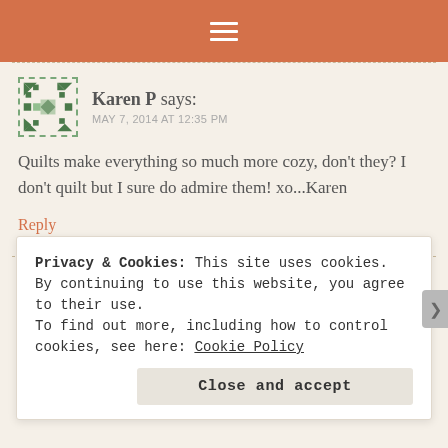≡ (hamburger menu icon)
Karen P says:
MAY 7, 2014 AT 12:35 PM
Quilts make everything so much more cozy, don't they? I don't quilt but I sure do admire them! xo...Karen
Reply
Dawn says:
MAY 7, 2014 AT 1:18 PM
Privacy & Cookies: This site uses cookies. By continuing to use this website, you agree to their use.
To find out more, including how to control cookies, see here: Cookie Policy
Close and accept